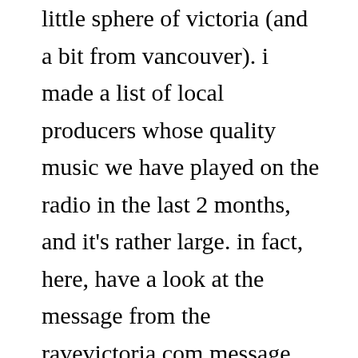little sphere of victoria (and a bit from vancouver). i made a list of local producers whose quality music we have played on the radio in the last 2 months, and it's rather large. in fact, here, have a look at the message from the ravevictoria.com message board: http://www.ravevictoria.com/msgboard/msgdisplay.rave?msg=18897&bid=music that's pretty cool actually. when i first started on cfuv 4 years ago, there was very little in terms of local music which was playable.